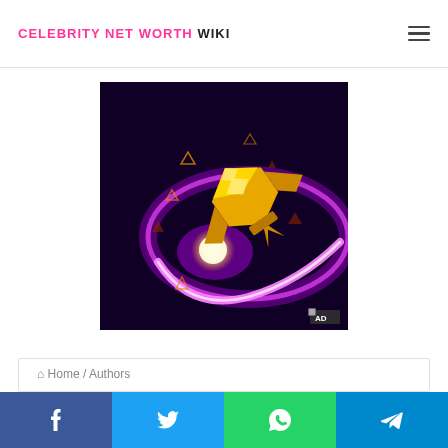CELEBRITY NET WORTH WIKI
[Figure (illustration): Advertisement image showing a golden spacecraft or vehicle flying through a purple/violet glowing circular ring on a dark background, with scattered triangle shapes around it. 'AD' label visible in bottom-right corner.]
Home / Authors
Facebook Twitter WhatsApp Telegram share buttons